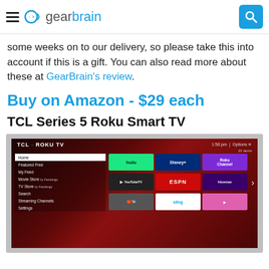gearbrain
some weeks on to our delivery, so please take this into account if this is a gift. You can also read more about these at GearBrain's review.
Buy on Amazon - $29 each
TCL Series 5 Roku Smart TV
[Figure (photo): Photo of a TCL Roku TV screen showing the Roku home interface with a menu on the left (Home, Featured Free, My Feed, Movie Store by Fandango, TV Store by Fandango, Search, Streaming Channels, Settings) and app tiles on the right (Hulu, Disney+, Roku Channel, YouTube TV, ESPN, HBO Max, Apple TV, Sling, and more). The TV shows 1:50 pm and Options in the top bar, along with 21 items count.]